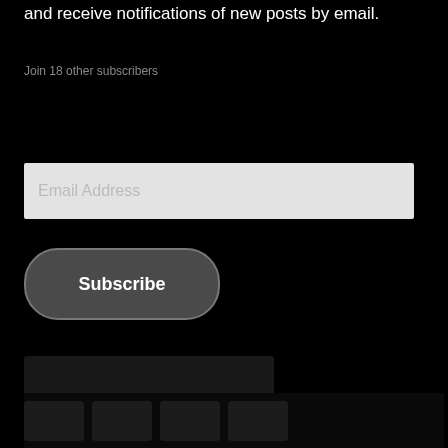and receive notifications of new posts by email.
Join 18 other subscribers
[Figure (screenshot): Email Address input field (light gray background, placeholder text 'Email Address')]
[Figure (screenshot): Dark rounded Subscribe button with white text]
[Figure (screenshot): Dark lower section of website page, black background with barely visible dark image content]